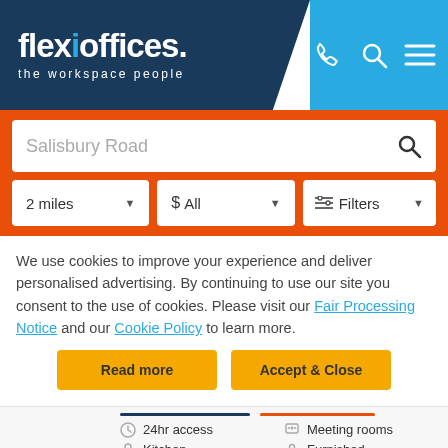[Figure (logo): Flexioffices logo with 'the workspace people' tagline on dark blue background, with phone, search, and menu icons on cyan background]
Salisbury Road
2 miles
$ All
Filters
We use cookies to improve your experience and deliver personalised advertising. By continuing to use our site you consent to the use of cookies. Please visit our Fair Processing Notice and our Cookie Policy to learn more.
Read more
Accept & Close
24hr access
Meeting rooms
Kitchen
Furnished
Break-out areas
Contemporary